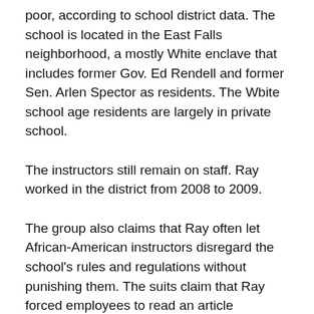poor, according to school district data. The school is located in the East Falls neighborhood, a mostly White enclave that includes former Gov. Ed Rendell and former Sen. Arlen Spector as residents. The Wbite school age residents are largely in private school.
The instructors still remain on staff. Ray worked in the district from 2008 to 2009.
The group also claims that Ray often let African-American instructors disregard the school's rules and regulations without punishing them. The suits claim that Ray forced employees to read an article instructing teachers that “Whites do not have the ability to teach African Americans” as part of a professional development exercise.